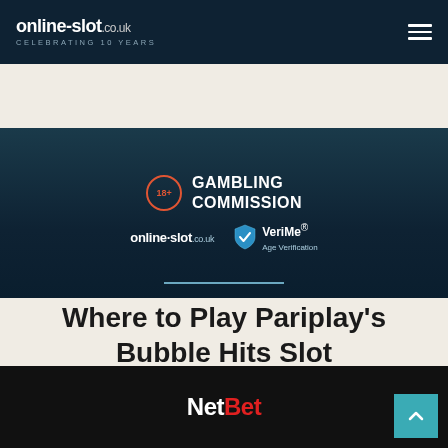online-slot.co.uk CELEBRATING 10 YEARS
[Figure (screenshot): Dark banner with 18+ age badge, GAMBLING COMMISSION text, online-slot.co.uk logo and VeriMe Age Verification logo]
Where to Play Pariplay's Bubble Hits Slot
[Figure (logo): NetBet casino logo on dark background with scroll-to-top button]